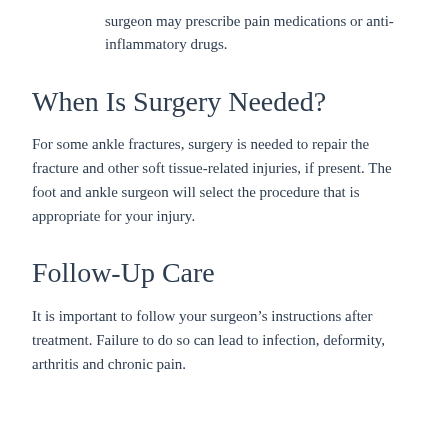surgeon may prescribe pain medications or anti-inflammatory drugs.
When Is Surgery Needed?
For some ankle fractures, surgery is needed to repair the fracture and other soft tissue-related injuries, if present. The foot and ankle surgeon will select the procedure that is appropriate for your injury.
Follow-Up Care
It is important to follow your surgeon’s instructions after treatment. Failure to do so can lead to infection, deformity, arthritis and chronic pain.